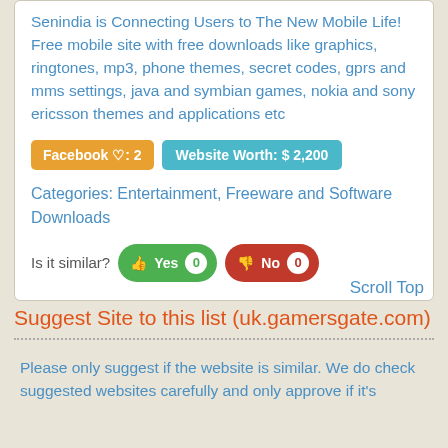Senindia is Connecting Users to The New Mobile Life! Free mobile site with free downloads like graphics, ringtones, mp3, phone themes, secret codes, gprs and mms settings, java and symbian games, nokia and sony ericsson themes and applications etc
Facebook ♡: 2   Website Worth: $ 2,200
Categories: Entertainment, Freeware and Software Downloads
Is it similar?  Yes 0  No 0
Scroll Top
Suggest Site to this list (uk.gamersgate.com)
Please only suggest if the website is similar. We do check suggested websites carefully and only approve if it's